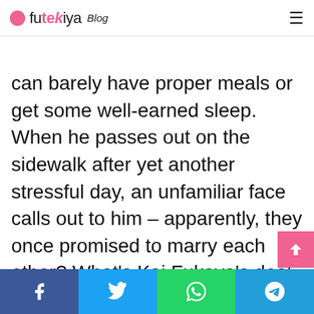futekiya Blog
Hiro's so stressed out at work that he can barely have proper meals or get some well-earned sleep. When he passes out on the sidewalk after yet another stressful day, an unfamiliar face calls out to him – apparently, they once promised to marry each other? What's Kai Fukaya's deal, and why is he so insistent on assuming the role of Hiro's fiancé?
Share buttons: Facebook, Twitter, WhatsApp, Telegram